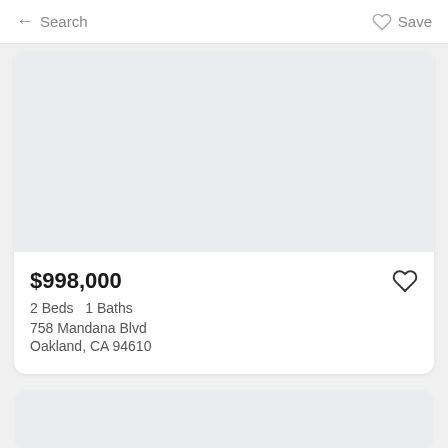← Search   ♡ Save
[Figure (photo): Property listing photo placeholder — light gray background image area]
$998,000
2 Beds   1 Baths
758 Mandana Blvd
Oakland, CA 94610